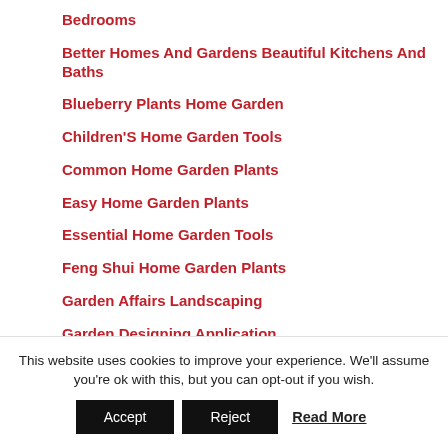Bedrooms
Better Homes And Gardens Beautiful Kitchens And Baths
Blueberry Plants Home Garden
Children'S Home Garden Tools
Common Home Garden Plants
Easy Home Garden Plants
Essential Home Garden Tools
Feng Shui Home Garden Plants
Garden Affairs Landscaping
Garden Designing Application
This website uses cookies to improve your experience. We'll assume you're ok with this, but you can opt-out if you wish.
Accept  Reject  Read More